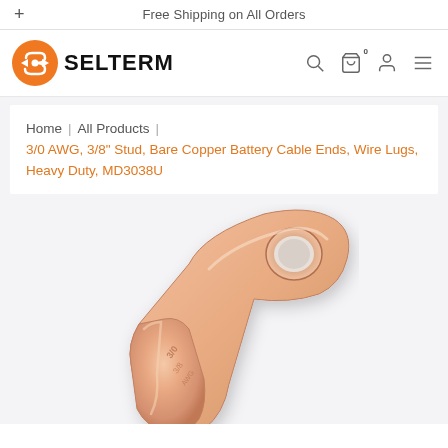Free Shipping on All Orders
[Figure (logo): Selterm logo - orange circular icon with stylized S and arrow, with SELTERM text in bold black]
Home | All Products | 3/0 AWG, 3/8" Stud, Bare Copper Battery Cable Ends, Wire Lugs, Heavy Duty, MD3038U
[Figure (photo): Close-up photo of a bare copper battery cable end / wire lug with a round hole, showing copper metallic finish with embossed text markings]